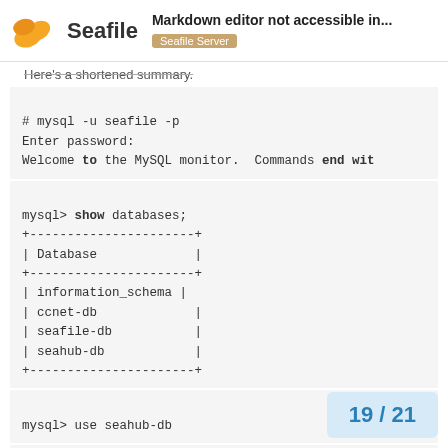Seafile — Markdown editor not accessible in... | Seafile Server
Here's a shortened summary.
# mysql -u seafile -p
Enter password:
Welcome to the MySQL monitor.  Commands end wit
mysql> show databases;
+----------------------+
| Database             |
+----------------------+
| information_schema |
| ccnet-db             |
| seafile-db           |
| seahub-db            |
+----------------------+
mysql> use seahub-db
mysql> show tables;
19 / 21